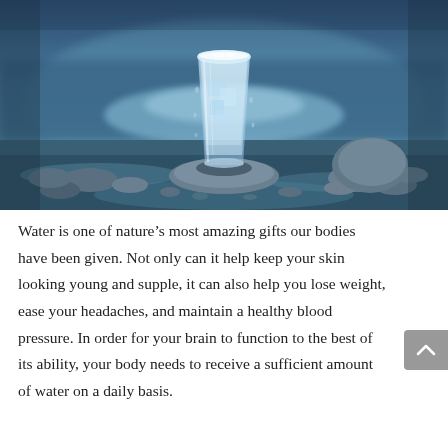[Figure (photo): A glass of icy cold water placed on rocks near a body of water, with a blurred blue natural background of water and trees.]
Water is one of nature’s most amazing gifts our bodies have been given. Not only can it help keep your skin looking young and supple, it can also help you lose weight, ease your headaches, and maintain a healthy blood pressure. In order for your brain to function to the best of its ability, your body needs to receive a sufficient amount of water on a daily basis.